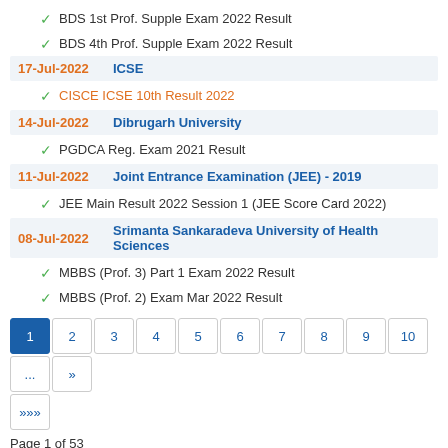BDS 1st Prof. Supple Exam 2022 Result
BDS 4th Prof. Supple Exam 2022 Result
17-Jul-2022   ICSE
CISCE ICSE 10th Result 2022
14-Jul-2022   Dibrugarh University
PGDCA Reg. Exam 2021 Result
11-Jul-2022   Joint Entrance Examination (JEE) - 2019
JEE Main Result 2022 Session 1 (JEE Score Card 2022)
08-Jul-2022   Srimanta Sankaradeva University of Health Sciences
MBBS (Prof. 3) Part 1 Exam 2022 Result
MBBS (Prof. 2) Exam Mar 2022 Result
1 2 3 4 5 6 7 8 9 10 ... » >>>
Page 1 of 53